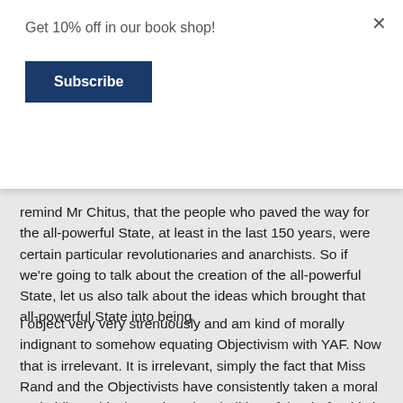Get 10% off in our book shop!
Subscribe
remind Mr Chitus, that the people who paved the way for the all-powerful State, at least in the last 150 years, were certain particular revolutionaries and anarchists. So if we're going to talk about the creation of the all-powerful State, let us also talk about the ideas which brought that all-powerful State into being.
I object very very strenuously and am kind of morally indignant to somehow equating Objectivism with YAF. Now that is irrelevant. It is irrelevant, simply the fact that Miss Rand and the Objectivists have consistently taken a moral and philosophical stand on the abolition of the draft. This is not an Objectivist society, I wish it were; the question is to discuss the ideas which make